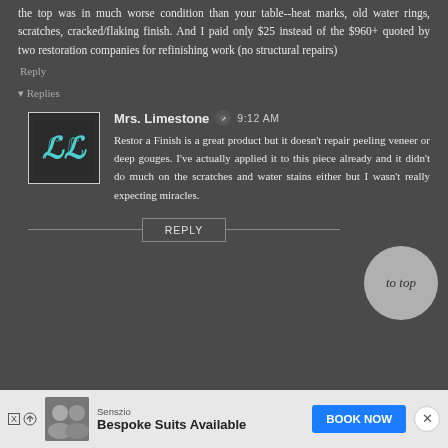the top was in much worse condition than your table--heat marks, old water rings, scratches, cracked/flaking finish. And I paid only $25 instead of the $960+ quoted by two restoration companies for refinishing work (no structural repairs)
Reply
Replies
[Figure (photo): Avatar image with teal ornamental monogram letters on dark background]
Mrs. Limestone 🖊 9:12 AM
Restor a Finish is a great product but it doesn't repair peeling veneer or deep gouges. I've actually applied it to this piece already and it didn't do much on the scratches and water stains either but I wasn't really expecting miracles.
REPLY
to top
Senszio
Bespoke Suits Available
BOOK NOW